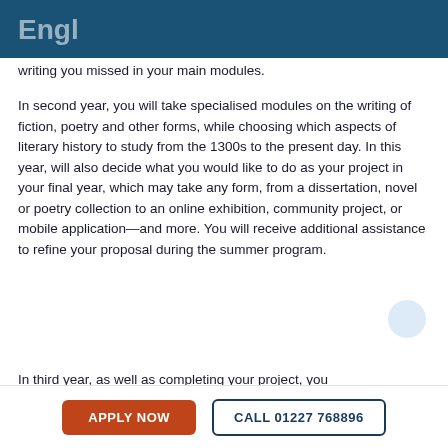writing you missed in your main modules.
In second year, you will take specialised modules on the writing of fiction, poetry and other forms, while choosing which aspects of literary history to study from the 1300s to the present day. In this year, will also decide what you would like to do as your project in your final year, which may take any form, from a dissertation, novel or poetry collection to an online exhibition, community project, or mobile application—and more. You will receive additional assistance to refine your proposal during the summer program.
In third year, as well as completing your project, you
APPLY NOW   CALL 01227 768896